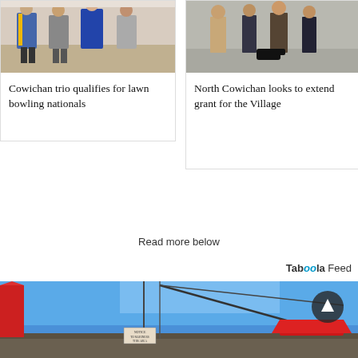[Figure (photo): Group of people in sports jerseys standing indoors, lawn bowling related]
Cowichan trio qualifies for lawn bowling nationals
[Figure (photo): People standing outdoors on pavement, formal or event setting]
North Cowichan looks to extend grant for the Village
Read more below
Taboola Feed
[Figure (photo): Marina scene with boat masts, red buoy, blue sky, and a sign board visible; back-to-top arrow button overlay]